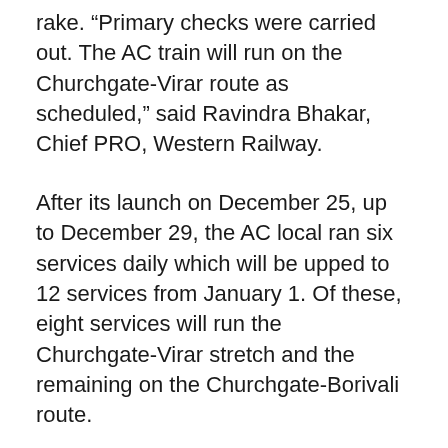rake. “Primary checks were carried out. The AC train will run on the Churchgate-Virar route as scheduled,” said Ravindra Bhakar, Chief PRO, Western Railway.
After its launch on December 25, up to December 29, the AC local ran six services daily which will be upped to 12 services from January 1. Of these, eight services will run the Churchgate-Virar stretch and the remaining on the Churchgate-Borivali route.
As per the decided schedule for the AC local, authorities will operate one service each during the morning and evening peak hours.
Initial runs from the last week have mostly received negative feedback from commuters